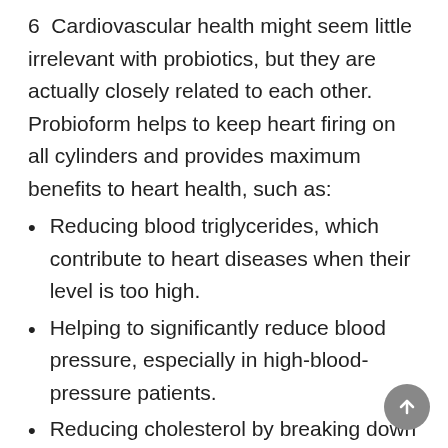6  Cardiovascular health might seem little irrelevant with probiotics, but they are actually closely related to each other. Probioform helps to keep heart firing on all cylinders and provides maximum benefits to heart health, such as:
Reducing blood triglycerides, which contribute to heart diseases when their level is too high.
Helping to significantly reduce blood pressure, especially in high-blood-pressure patients.
Reducing cholesterol by breaking down existing cholesterol and preventing it from